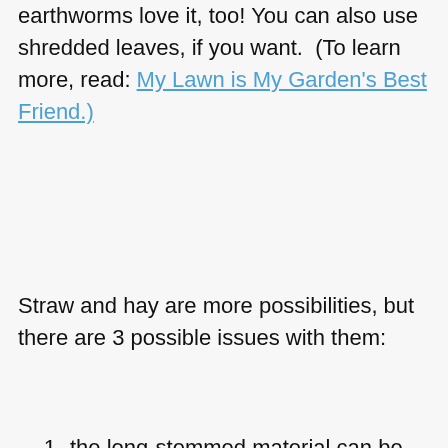earthworms love it, too! You can also use shredded leaves, if you want. (To learn more, read: My Lawn is My Garden's Best Friend.)
Straw and hay are more possibilities, but there are 3 possible issues with them:
the long-stemmed material can be difficult to use around densely planted small plants, like carrots
there is a risk of contaminating your garden with long-lasting herbicides (see Don't Kill Your Garden with Compost)
they are often full of grain or weed